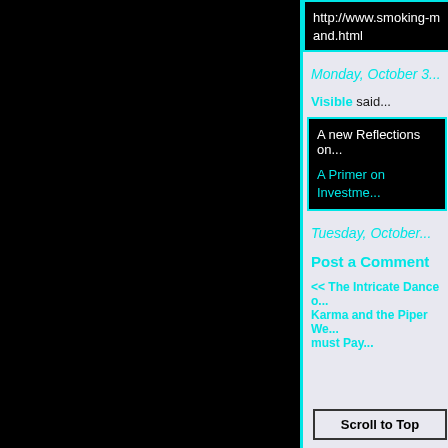http://www.smoking-... and.html
Monday, October 3...
Visible said...
A new Reflections on...
A Primer on Investme...
Tuesday, October...
Post a Comment
<< The Intricate Dance o... Karma and the Piper We... must Pay...
Scroll to Top